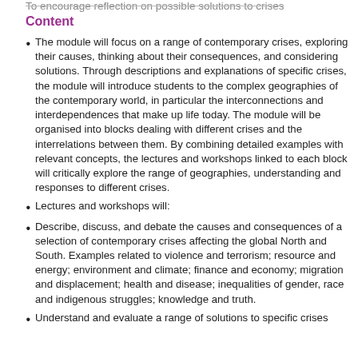To encourage reflection on possible solutions to crises
Content
The module will focus on a range of contemporary crises, exploring their causes, thinking about their consequences, and considering solutions. Through descriptions and explanations of specific crises, the module will introduce students to the complex geographies of the contemporary world, in particular the interconnections and interdependences that make up life today. The module will be organised into blocks dealing with different crises and the interrelations between them. By combining detailed examples with relevant concepts, the lectures and workshops linked to each block will critically explore the range of geographies, understanding and responses to different crises.
Lectures and workshops will:
Describe, discuss, and debate the causes and consequences of a selection of contemporary crises affecting the global North and South. Examples related to violence and terrorism; resource and energy; environment and climate; finance and economy; migration and displacement; health and disease; inequalities of gender, race and indigenous struggles; knowledge and truth.
Understand and evaluate a range of solutions to specific crises